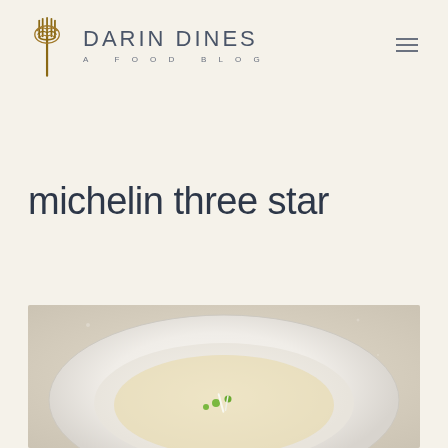DARIN DINES A FOOD BLOG
michelin three star
[Figure (photo): Close-up photo of a fine dining dish: a white ceramic bowl/plate containing what appears to be a light-colored soup or consommé with small green peas and white garnishes arranged in the center]